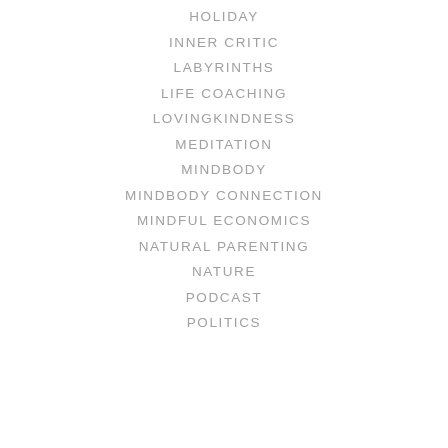HOLIDAY
INNER CRITIC
LABYRINTHS
LIFE COACHING
LOVINGKINDNESS
MEDITATION
MINDBODY
MINDBODY CONNECTION
MINDFUL ECONOMICS
NATURAL PARENTING
NATURE
PODCAST
POLITICS